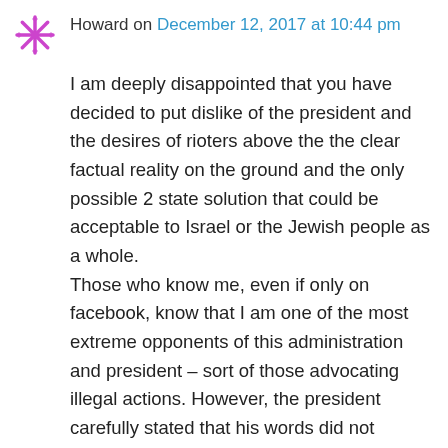Howard on December 12, 2017 at 10:44 pm
I am deeply disappointed that you have decided to put dislike of the president and the desires of rioters above the the clear factual reality on the ground and the only possible 2 state solution that could be acceptable to Israel or the Jewish people as a whole.
Those who know me, even if only on facebook, know that I am one of the most extreme opponents of this administration and president – sort of those advocating illegal actions. However, the president carefully stated that his words did not prescribe or proscribed any final boundaries of Jerusalem that the parties freely agree to.
There was no support in his words for the idea that an equivalent recognition for the Abu Tor